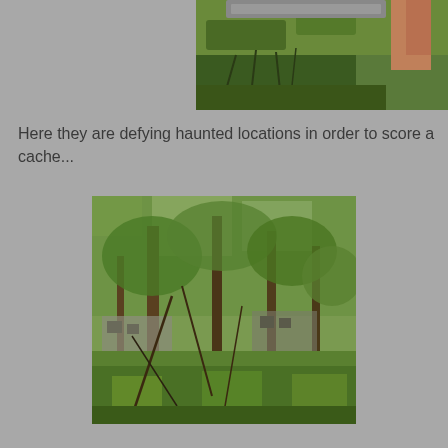[Figure (photo): Outdoor photo showing a person's hand/arm holding a metal plate or lid over green grass and vegetation, viewed from above at ground level.]
Here they are defying haunted locations in order to score a cache...
[Figure (photo): Outdoor photo of an overgrown area with trees, dense green vegetation, and what appears to be old stone or concrete ruins visible through foliage.]